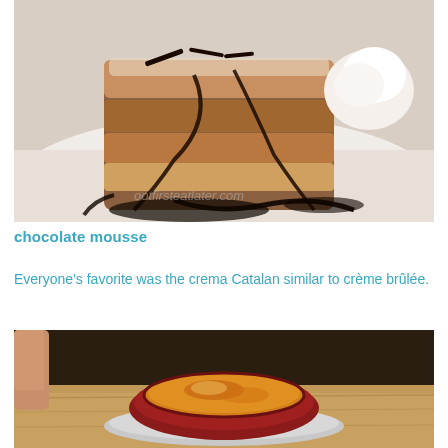[Figure (photo): A plate of chocolate mousse dessert with chocolate sauce drizzled over layered cream dessert, topped with powdered sugar and whipped cream. Watermark reads 'ootfirsteatlater.com'.]
chocolate mousse
Everyone's favorite was the crema Catalan similar to crème brûlée.
[Figure (photo): A red ceramic ramekin filled with crema Catalan (similar to crème brûlée) with a caramelized top, placed on a silver plate on a wooden table.]